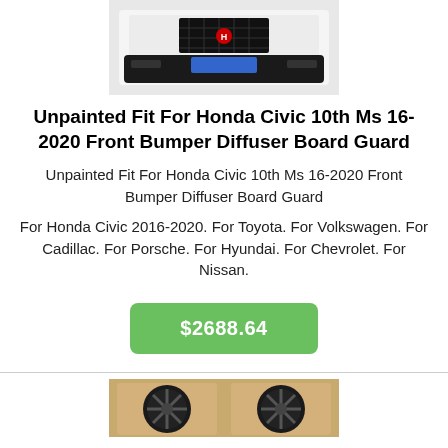[Figure (photo): Front view of a white Honda Civic with black front bumper and blue license plate area, cropped to show front bumper region]
Unpainted Fit For Honda Civic 10th Ms 16-2020 Front Bumper Diffuser Board Guard
Unpainted Fit For Honda Civic 10th Ms 16-2020 Front Bumper Diffuser Board Guard
For Honda Civic 2016-2020. For Toyota. For Volkswagen. For Cadillac. For Porsche. For Hyundai. For Chevrolet. For Nissan.
$2688.64
[Figure (photo): Two black alloy wheels in cardboard box packaging, viewed from above]